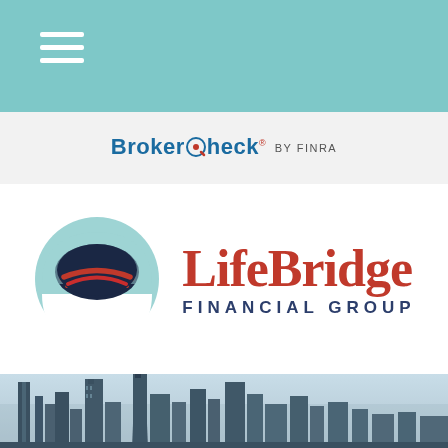Navigation menu bar (teal)
[Figure (logo): BrokerCheck by FINRA logo in header bar]
[Figure (logo): LifeBridge Financial Group logo with teal semicircle icon containing dark navy and red swoosh shapes, with red 'LifeBridge' text and dark blue 'FINANCIAL GROUP' text]
[Figure (photo): Houston city skyline photograph with blue sky and multiple skyscrapers]